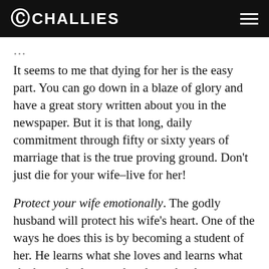CHALLIES
It seems to me that dying for her is the easy part. You can go down in a blaze of glory and have a great story written about you in the newspaper. But it is that long, daily commitment through fifty or sixty years of marriage that is the true proving ground. Don’t just die for your wife–live for her!
Protect your wife emotionally. The godly husband will protect his wife’s heart. One of the ways he does this is by becoming a student of her. He learns what she loves and learns what she hates; he learns what draws her heart